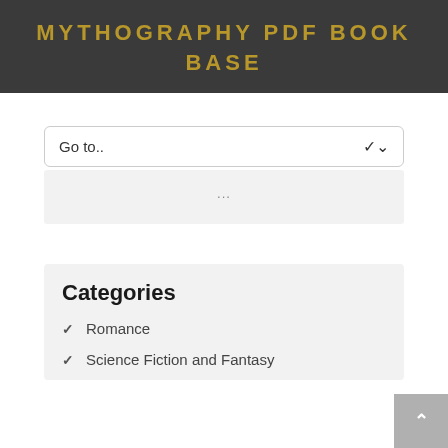MYTHOGRAPHY PDF BOOK BASE
Go to..
...
Categories
Romance
Science Fiction and Fantasy